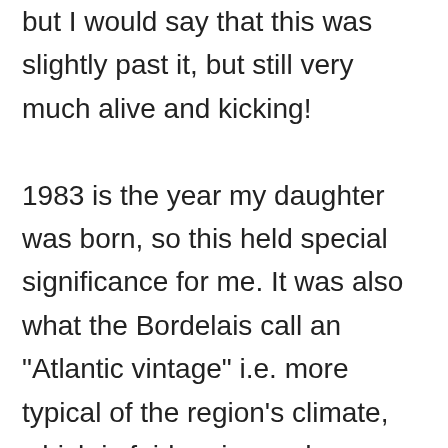but I would say that this was slightly past it, but still very much alive and kicking! 1983 is the year my daughter was born, so this held special significance for me. It was also what the Bordelais call an "Atlantic vintage" i.e. more typical of the region's climate, which is fairly rainy and temperate, than a hot, dry year accounting for richer more alcoholic wines. To many Bordeaux lovers, the former are more authentic, digestible, and loveable wines than ones from much-heralded great years. This 83 had